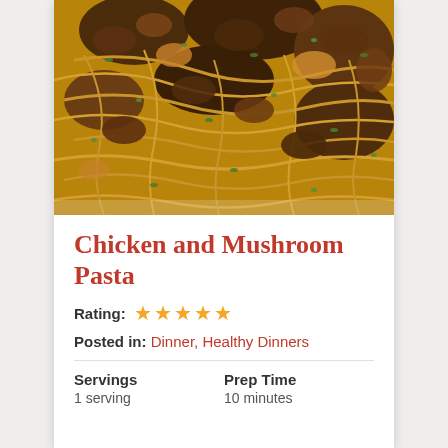[Figure (photo): Close-up photo of chicken and mushroom pasta dish with spaghetti noodles, sautéed mushrooms, chicken pieces, and fresh green herbs on top]
Chicken and Mushroom Pasta
Rating: ★★★★★
Posted in: Dinner, Healthy Dinners
Servings: 1 serving
Prep Time: 10 minutes